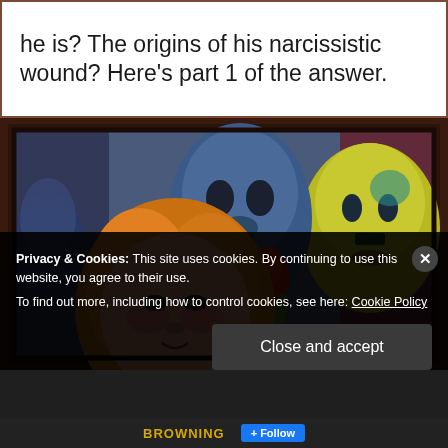he is? The origins of his narcissistic wound? Here's part 1 of the answer.
[Figure (illustration): Colorful expressionist painting of three faces/masks — a realistic female face with blonde/orange hair in the foreground, a blue-toned mask-like face in the center, and a yellow-green face on the right, with red flower and dark background.]
Privacy & Cookies: This site uses cookies. By continuing to use this website, you agree to their use.
To find out more, including how to control cookies, see here: Cookie Policy
Close and accept